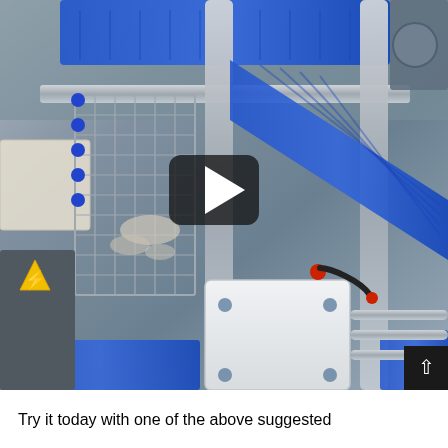[Figure (photo): Industrial food processing or packaging machinery with blue conveyor belts, metal frames, rollers, white plastic components, and a play button overlay indicating a video screenshot. A small scroll-up button is visible in the bottom-right corner.]
Try it today with one of the above suggested